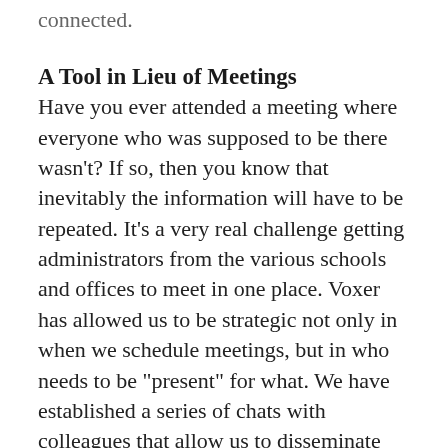connected.
A Tool in Lieu of Meetings
Have you ever attended a meeting where everyone who was supposed to be there wasn't? If so, then you know that inevitably the information will have to be repeated. It's a very real challenge getting administrators from the various schools and offices to meet in one place. Voxer has allowed us to be strategic not only in when we schedule meetings, but in who needs to be "present" for what. We have established a series of chats with colleagues that allow us to disseminate important information as soon as it's ready to be shared. We don't need to rely as